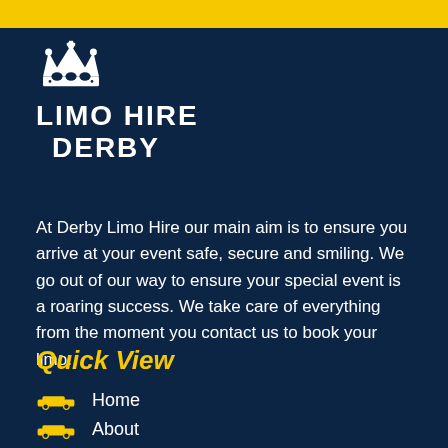[Figure (logo): Limo Hire Derby logo with crown icon above text reading LIMO HIRE DERBY on dark navy background]
At Derby Limo Hire our main aim is to ensure you arrive at your event safe, secure and smiling. We go out of our way to ensure your special event is a roaring success. We take care of everything from the moment you contact us to book your limo.
Quick View
Home
About
Sports Cars